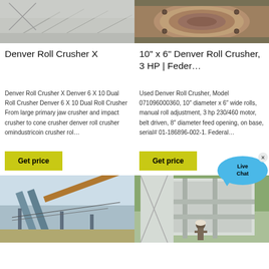[Figure (photo): Top-left product image of a Denver Roll Crusher, dusty industrial setting with grey floor]
[Figure (photo): Top-right product image of a 10" x 6" Denver Roll Crusher, close-up of metal roller/drum]
Denver Roll Crusher X
10" x 6" Denver Roll Crusher, 3 HP | Feder…
Denver Roll Crusher X Denver 6 X 10 Dual Roll Crusher Denver 6 X 10 Dual Roll Crusher From large primary jaw crusher and impact crusher to cone crusher denver roll crusher omindustricoin crusher rol…
Used Denver Roll Crusher, Model 071096000360, 10″ diameter x 6″ wide rolls, manual roll adjustment, 3 hp 230/460 motor, belt driven, 8″ diameter feed opening, on base, serial# 01-186896-002-1. Federal…
Get price
Get price
[Figure (photo): Bottom-left image of large industrial crushing or conveying equipment outdoors]
[Figure (photo): Bottom-right image of a large industrial crusher machine with a worker in hard hat standing in front]